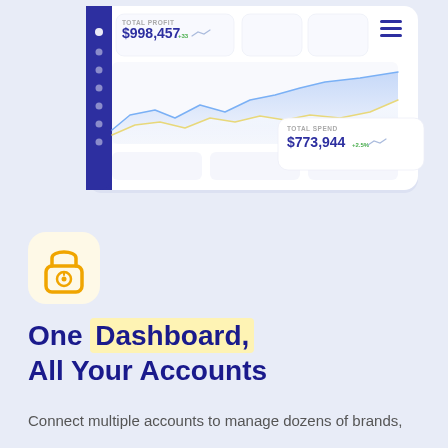[Figure (screenshot): Dashboard UI screenshot showing TOTAL PROFIT $998,457 and TOTAL SPEND $773,944 with an area line chart showing multiple trend lines, a dark blue/indigo sidebar with navigation icons, and a hamburger menu icon in the top right.]
[Figure (illustration): Lock/security icon (combination lock with circular dial) in orange/yellow color on a light yellow rounded square background.]
One Dashboard, All Your Accounts
Connect multiple accounts to manage dozens of brands,